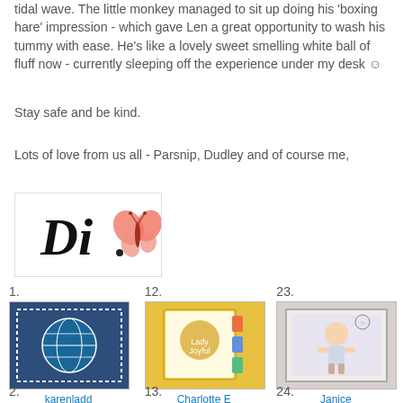tidal wave. The little monkey managed to sit up doing his 'boxing hare' impression - which gave Len a great opportunity to wash his tummy with ease. He's like a lovely sweet smelling white ball of fluff now - currently sleeping off the experience under my desk ☺
Stay safe and be kind.
Lots of love from us all - Parsnip, Dudley and of course me,
[Figure (illustration): Handwritten cursive signature 'Di' with a pink/coral butterfly illustration]
1. karenladd
12. Charlotte E (Lady Joyful)
23. Janice
2.
13.
24.